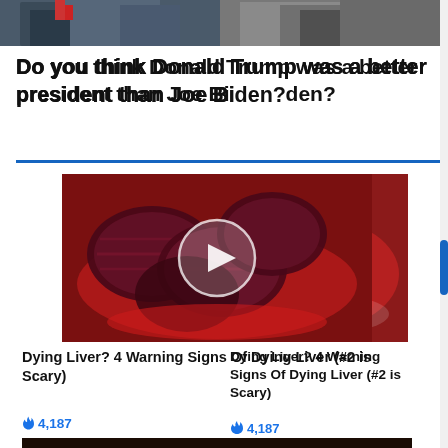[Figure (photo): Top strip showing two men in suits, partially cropped]
Do you think Donald Trump was a better president than Joe Biden?
Promoted ×
[Figure (photo): Sliced red beets on a plate with a video play button overlay]
Dying Liver? 4 Warning Signs Of Dying Liver (#2 is Scary)
🔥 4,187
[Figure (photo): Medical illustration of internal organs]
Why Doctors In The Know No Longer Prescribe Metformin
🔥 108,347